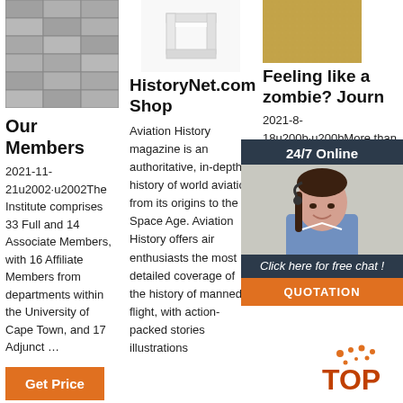[Figure (photo): Stack of concrete/stone blocks, grey colored]
[Figure (photo): White angled channel or bracket product]
[Figure (photo): Sandy/granular material texture]
Our Members
2021-11-21u2002·u2002The Institute comprises 33 Full and 14 Associate Members, with 16 Affiliate Members from departments within the University of Cape Town, and 17 Adjunct …
[Figure (other): Get Price button - orange button]
HistoryNet.com Shop
Aviation History magazine is an authoritative, in-depth history of world aviation from its origins to the Space Age. Aviation History offers air enthusiasts the most detailed coverage of the history of manned flight, with action-packed stories illustrations
Feeling like a zombie? Journal
2021-8-18u200b·u200bMore than a year and a half into the COVID-19 pandemic, it seems like everyone… Many of us didn't realise what had hit us when we scrambled to adjust to the sudden upheaval of the world around
[Figure (infographic): 24/7 Online chat widget with agent photo, Click here for free chat, and QUOTATION button]
[Figure (other): TOP badge with orange dots]